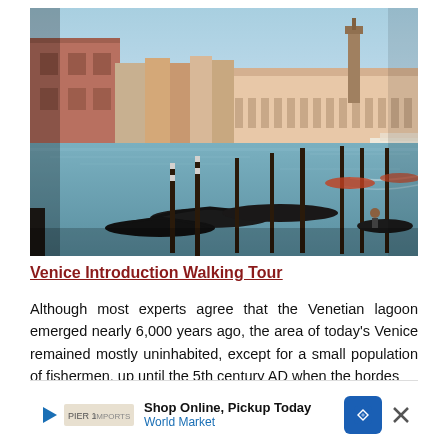[Figure (photo): Aerial view of Venice Grand Canal with gondolas moored at wooden posts in the foreground, historic buildings and a campanile tower in the background, blue sky above.]
Venice Introduction Walking Tour
Although most experts agree that the Venetian lagoon emerged nearly 6,000 years ago, the area of today's Venice remained mostly uninhabited, except for a small population of fishermen, up until the 5th century AD when the hordes of...
[Figure (other): Advertisement banner: Shop Online, Pickup Today - World Market, with navigation arrow icon and close button.]